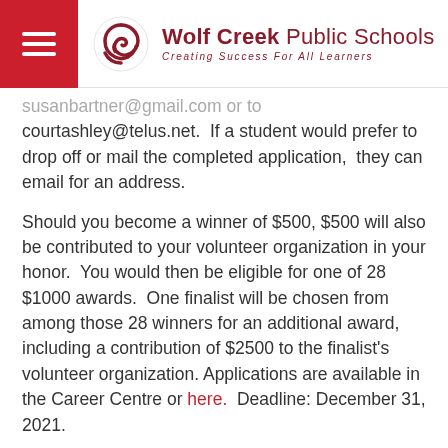Wolf Creek Public Schools — Creating Success For All Learners
susanbartner@gmail.com or to courtashley@telus.net.  If a student would prefer to drop off or mail the completed application,  they can email for an address.
Should you become a winner of $500, $500 will also be contributed to your volunteer organization in your honor.  You would then be eligible for one of 28 $1000 awards.  One finalist will be chosen from among those 28 winners for an additional award, including a contribution of $2500 to the finalist's volunteer organization. Applications are available in the Career Centre or here.  Deadline: December 31, 2021.